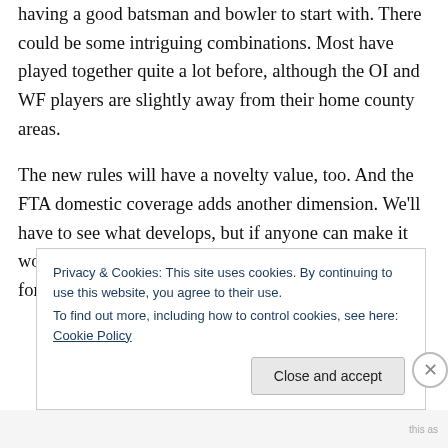having a good batsman and bowler to start with. There could be some intriguing combinations. Most have played together quite a lot before, although the OI and WF players are slightly away from their home county areas.
The new rules will have a novelty value, too. And the FTA domestic coverage adds another dimension. We'll have to see what develops, but if anyone can make it work, it will be the players. It has not been made easy for them at all,
Privacy & Cookies: This site uses cookies. By continuing to use this website, you agree to their use.
To find out more, including how to control cookies, see here: Cookie Policy
Close and accept